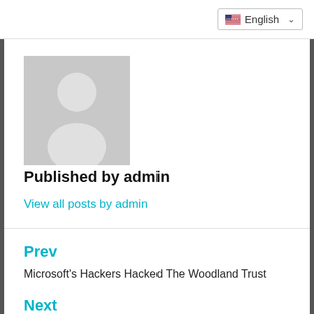English
[Figure (photo): Grey avatar placeholder with white person silhouette]
Published by admin
View all posts by admin
Prev
Microsoft's Hackers Hacked The Woodland Trust
Next
Google, Microsoft and Apple's Flaw Crumbles Small Businesses